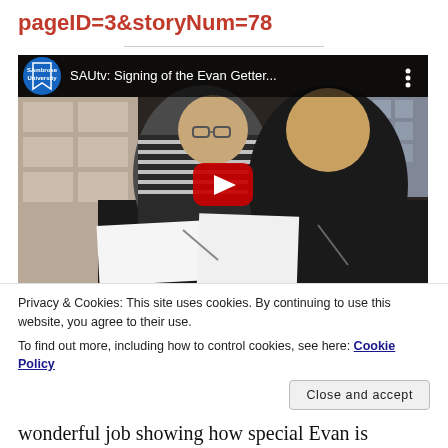pageID=3&storyNum=78
[Figure (screenshot): YouTube video thumbnail showing two men signing documents at a table. Video title reads 'SAUtv: Signing of the Evan Getter...' with St. Ambrose University logo in top left corner and a red play button overlay.]
Privacy & Cookies: This site uses cookies. By continuing to use this website, you agree to their use.
To find out more, including how to control cookies, see here: Cookie Policy
wonderful job showing how special Evan is